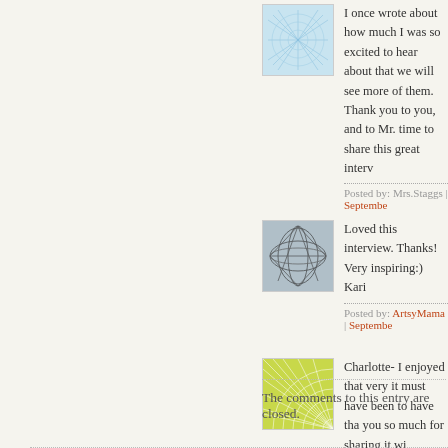[Figure (illustration): Blue abstract neural/web pattern avatar for Mrs.Staggs comment]
I once wrote about how much I was so excited to hear about that we will see more of them. Thank you to you, and to Mr. time to share this great interv
Posted by: Mrs.Staggs | September
[Figure (illustration): Gray-blue abstract spiral/loop pattern avatar for ArtsyMama comment]
Loved this interview. Thanks! Very inspiring:) Kari
Posted by: ArtsyMama | September
[Figure (illustration): Yellow-green abstract web/fan pattern avatar for Jen comment]
Charlotte- I enjoyed that very it must have been to have tha you so much for sharing it wi
Posted by: Jen | September 19, 200
The comments to this entry are closed.